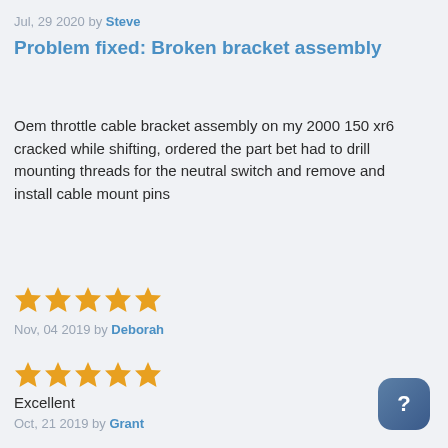Jul, 29 2020 by Steve
Problem fixed: Broken bracket assembly
Oem throttle cable bracket assembly on my 2000 150 xr6 cracked while shifting, ordered the part bet had to drill mounting threads for the neutral switch and remove and install cable mount pins
[Figure (other): 5 orange star rating icons]
Nov, 04 2019 by Deborah
[Figure (other): 5 orange star rating icons]
Excellent
Oct, 21 2019 by Grant